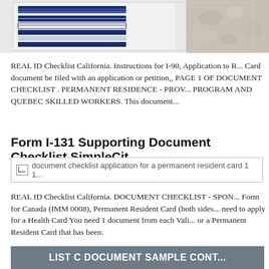[Figure (photo): Top banner image showing a stack of documents/books on the left and a textured/stone background on the right, partially cropped]
REAL ID Checklist California. Instructions for I-90, Application to R... Card document be filed with an application or petition,, PAGE 1 OF DOCUMENT CHECKLIST . PERMANENT RESIDENCE - PROV... PROGRAM AND QUEBEC SKILLED WORKERS. This document...
Form I-131 Supporting Document Checklist SimpleCit...
[Figure (photo): Broken image placeholder: document checklist application for a permanent resident card 1 1]
REAL ID Checklist California. DOCUMENT CHECKLIST - SPON... Form for Canada (IMM 0008), Permanent Resident Card (both sides... need to apply for a Health Card You need 1 document from each Vali... or a Permanent Resident Card that has been.
LIST C DOCUMENT SAMPLE CONT...